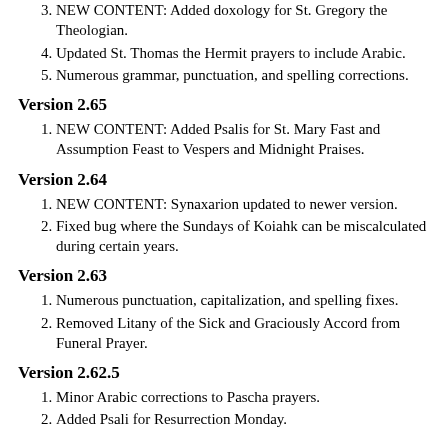NEW CONTENT: Added doxology for St. Gregory the Theologian.
Updated St. Thomas the Hermit prayers to include Arabic.
Numerous grammar, punctuation, and spelling corrections.
Version 2.65
NEW CONTENT: Added Psalis for St. Mary Fast and Assumption Feast to Vespers and Midnight Praises.
Version 2.64
NEW CONTENT: Synaxarion updated to newer version.
Fixed bug where the Sundays of Koiahk can be miscalculated during certain years.
Version 2.63
Numerous punctuation, capitalization, and spelling fixes.
Removed Litany of the Sick and Graciously Accord from Funeral Prayer.
Version 2.62.5
Minor Arabic corrections to Pascha prayers.
Added Psali for Resurrection Monday.